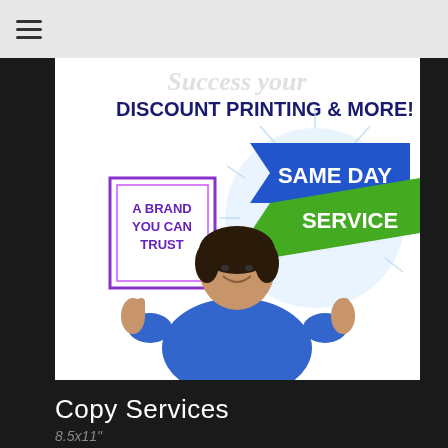≡
[Figure (illustration): Promotional banner for a discount printing shop. Shows 'DISCOUNT PRINTING & MORE!' in bold purple/dark text at top. Features 'A BRAND YOU CAN TRUST' in a purple-bordered box on the left, and a blue ribbon banner reading 'SAME DAY SERVICE' on the right. A smiling woman in a blue shirt giving two thumbs up is centered in the image. A stylized script logo appears at the top.]
Copy Services
8.5x11"